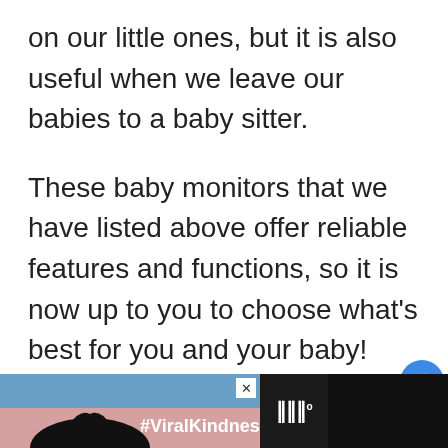on our little ones, but it is also useful when we leave our babies to a baby sitter.
These baby monitors that we have listed above offer reliable features and functions, so it is now up to you to choose what’s best for you and your baby!
Read More:
[Figure (screenshot): Ad banner with #ViralKindness hashtag on dark background with heart shape silhouette image and logo]